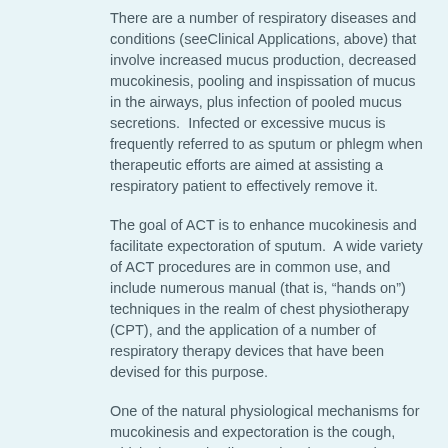There are a number of respiratory diseases and conditions (seeClinical Applications, above) that involve increased mucus production, decreased mucokinesis, pooling and inspissation of mucus in the airways, plus infection of pooled mucus secretions.  Infected or excessive mucus is frequently referred to as sputum or phlegm when therapeutic efforts are aimed at assisting a respiratory patient to effectively remove it.
The goal of ACT is to enhance mucokinesis and facilitate expectoration of sputum.  A wide variety of ACT procedures are in common use, and include numerous manual (that is, "hands on") techniques in the realm of chest physiotherapy (CPT), and the application of a number of respiratory therapy devices that have been devised for this purpose.
One of the natural physiological mechanisms for mucokinesis and expectoration is the cough, which vigorously vibrates the airways and subjects them to exceptionally high pressures (>100 cmH2O).  Coughing both breaks the adhesive and cohesive bonds of mucus with the airway surface and propels the secretions up the airway toward the pharynx.  Unfortunately, many patients with respiratory disease and excessive